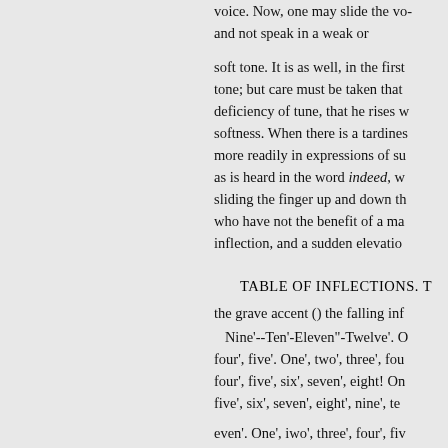voice. Now, one may slide the vo- and not speak in a weak or
soft tone. It is as well, in the first tone; but care must be taken that deficiency of tune, that he rises w softness. When there is a tardines more readily in expressions of su as is heard in the word indeed, w sliding the finger up and down th who have not the benefit of a ma inflection, and a sudden elevatio
TABLE OF INFLECTIONS. T
the grave accent () the falling inf
Nine'--Ten'-Eleven"-Twelve'. O four', five'. One', two', three', fou four', five', six', seven', eight! On five', six', seven', eight', nine', te
even'. One', iwo', three', four', fiv
even', twelve!
Did you give me one'?